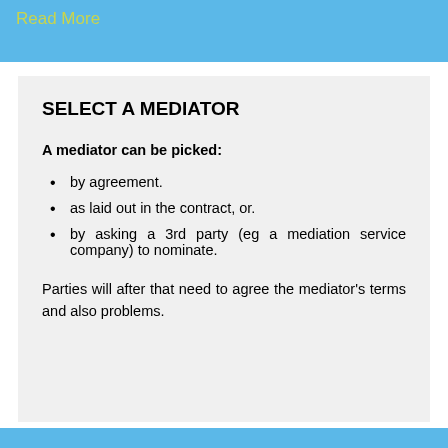Read More
SELECT A MEDIATOR
A mediator can be picked:
by agreement.
as laid out in the contract, or.
by asking a 3rd party (eg a mediation service company) to nominate.
Parties will after that need to agree the mediator's terms and also problems.